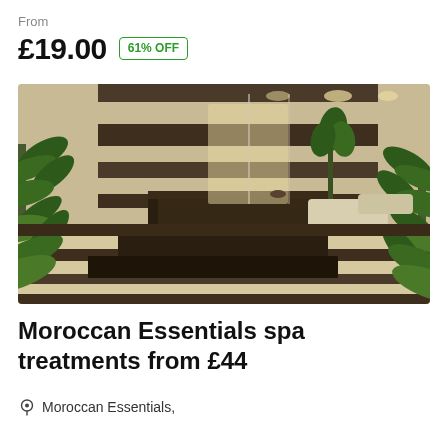From
£19.00  61% OFF
[Figure (photo): Interior of a Moroccan-style spa with dark marble-striped walls, stepped stone platforms, and tropical palm plants in the foreground and background.]
Moroccan Essentials spa treatments from £44
Moroccan Essentials,